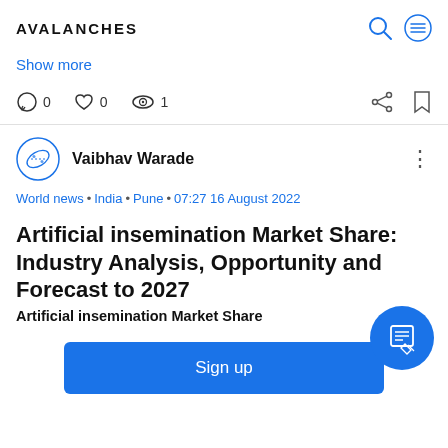AVALANCHES
Show more
0  0  1
Vaibhav Warade
World news • India • Pune • 07:27 16 August 2022
Artificial insemination Market Share: Industry Analysis, Opportunity and Forecast to 2027
Artificial insemination Market Share
Sign up